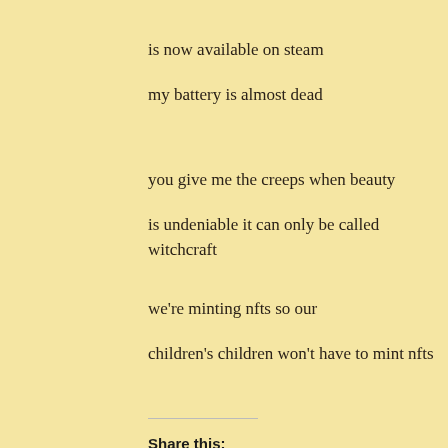is now available on steam
my battery is almost dead
you give me the creeps when beauty
is undeniable it can only be called witchcraft
we’re minting nfts so our
children’s children won’t have to mint nfts
Share this:
[Figure (infographic): Social share buttons: Twitter (blue), Tumblr (dark navy), Reddit (light blue), Pocket (red/pink), Facebook (blue), Email (light gray), WhatsApp (green)]
Like this:
[Figure (infographic): Like/reaction bar at bottom of page, partially visible]